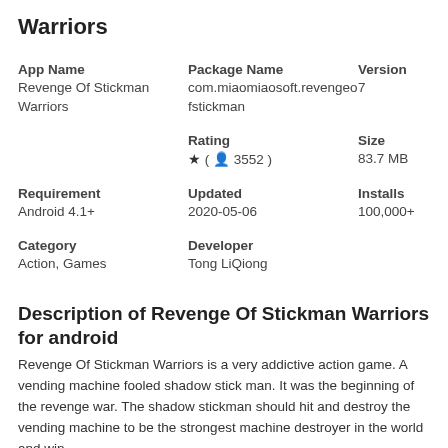Warriors
| App Name | Package Name | Version |
| --- | --- | --- |
| Revenge Of Stickman Warriors | com.miaomiaosoft.revengeofstickman | 7 |
|  | Rating | Size |
|  | ★ ( 👤 3552 ) | 83.7 MB |
| Requirement | Updated | Installs |
| Android 4.1+ | 2020-05-06 | 100,000+ |
| Category | Developer |  |
| Action, Games | Tong LiQiong |  |
Description of Revenge Of Stickman Warriors for android
Revenge Of Stickman Warriors is a very addictive action game. A vending machine fooled shadow stick man. It was the beginning of the revenge war. The shadow stickman should hit and destroy the vending machine to be the strongest machine destroyer in the world and win